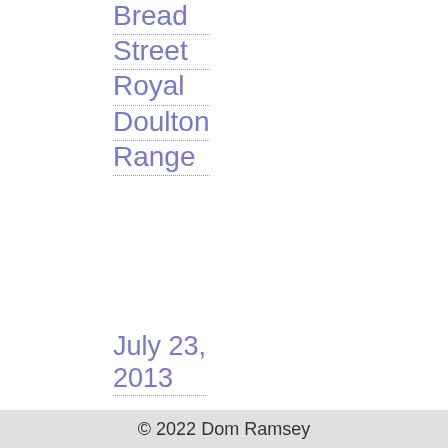Bread Street Royal Doulton Range
July 23, 2013
[Figure (photo): Thumbnail photo of a restaurant interior with blue tones and wooden furniture]
As a chocolate blogger, I get invited
© 2022 Dom Ramsey